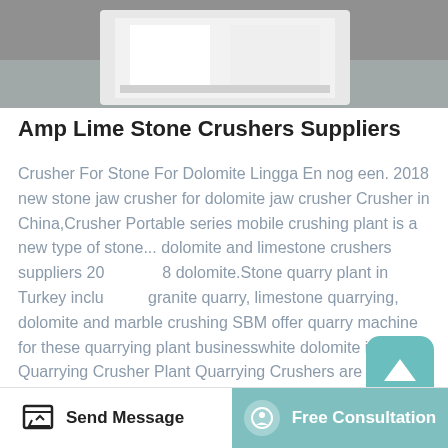[Figure (photo): Photo of a white industrial crusher or machinery part on a gray concrete floor background]
Amp Lime Stone Crushers Suppliers
Crusher For Stone For Dolomite Lingga En nog een. 2018 new stone jaw crusher for dolomite jaw crusher Crusher in China,Crusher Portable series mobile crushing plant is a new type of stone... dolomite and limestone crushers suppliers 208 dolomite.Stone quarry plant in Turkey includes granite quarry, limestone quarrying, dolomite and marble crushing SBM offer quarry machine for these quarrying plant businesswhite dolomite images - Quarrying Crusher Plant Quarrying Crushers are mainly used to make building stone materials and manufacturered sand CGM supplies